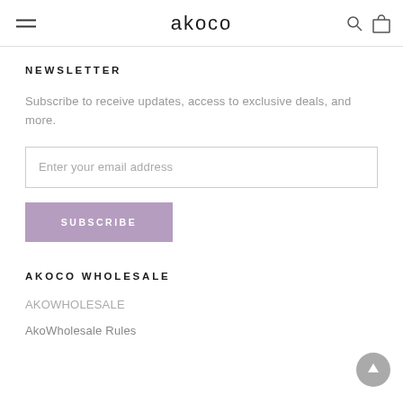akoco
NEWSLETTER
Subscribe to receive updates, access to exclusive deals, and more.
Enter your email address
SUBSCRIBE
AKOCO WHOLESALE
AKOWHOLESALE
AkoWholesale Rules